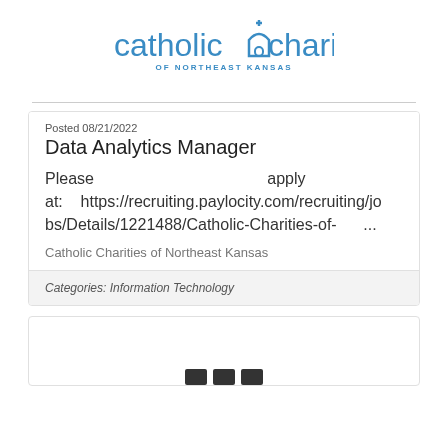[Figure (logo): Catholic Charities of Northeast Kansas logo in blue]
Posted 08/21/2022
Data Analytics Manager
Please apply at: https://recruiting.paylocity.com/recruiting/jobs/Details/1221488/Catholic-Charities-of- ...
Catholic Charities of Northeast Kansas
Categories: Information Technology